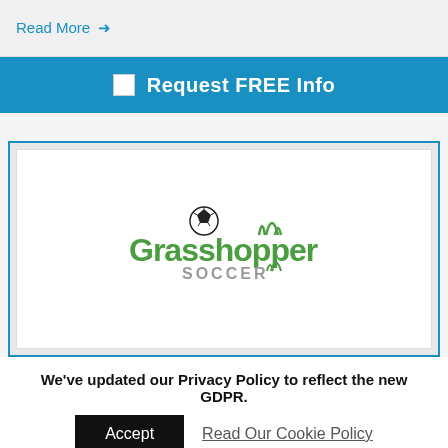Read More →
Request FREE Info
[Figure (logo): Grasshopper Soccer logo with soccer ball and grass imagery]
We've updated our Privacy Policy to reflect the new GDPR.
Accept
Read Our Cookie Policy